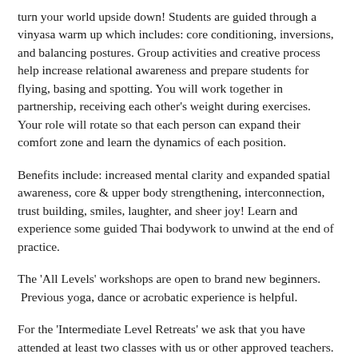turn your world upside down! Students are guided through a vinyasa warm up which includes: core conditioning, inversions, and balancing postures. Group activities and creative process help increase relational awareness and prepare students for flying, basing and spotting. You will work together in partnership, receiving each other's weight during exercises.  Your role will rotate so that each person can expand their comfort zone and learn the dynamics of each position.
Benefits include: increased mental clarity and expanded spatial awareness, core & upper body strengthening, interconnection, trust building, smiles, laughter, and sheer joy! Learn and experience some guided Thai bodywork to unwind at the end of practice.
The 'All Levels' workshops are open to brand new beginners. Previous yoga, dance or acrobatic experience is helpful.
For the 'Intermediate Level Retreats' we ask that you have attended at least two classes with us or other approved teachers.